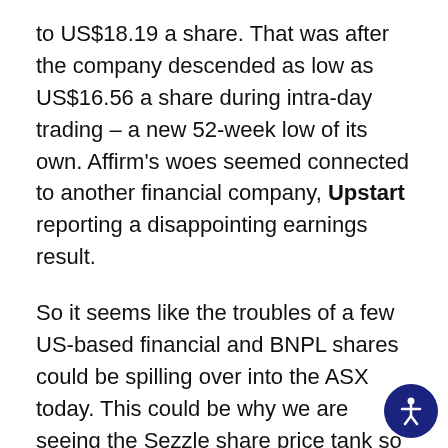to US$18.19 a share. That was after the company descended as low as US$16.56 a share during intra-day trading – a new 52-week low of its own. Affirm's woes seemed connected to another financial company, Upstart reporting a disappointing earnings result.
So it seems like the troubles of a few US-based financial and BNPL shares could be spilling over into the ASX today. This could be why we are seeing the Sezzle share price tank so dramatically. Sezzle is also a US-based company, which probably isn't helping its cause today, and could explain why it is suffering so much more